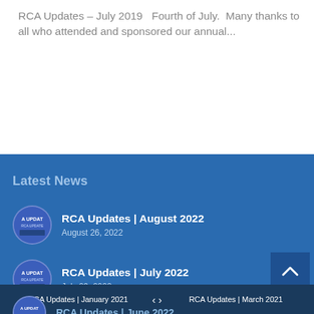RCA Updates – July 2019   Fourth of July.  Many thanks to all who attended and sponsored our annual...
Latest News
RCA Updates | August 2022
August 26, 2022
RCA Updates | July 2022
July 29, 2022
RCA Updates | January 2021   < >   RCA Updates | March 2021
RCA Updates | June 2022